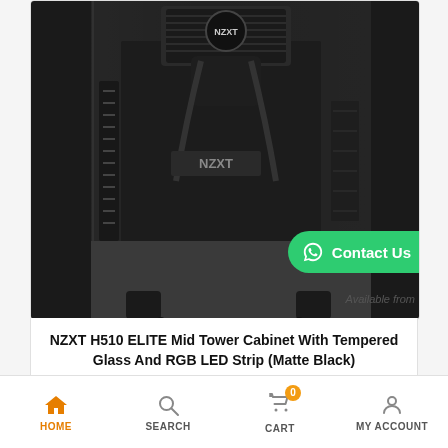[Figure (photo): NZXT H510 Elite Mid Tower PC case in Matte Black with tempered glass panel showing internal components, liquid cooler with NZXT branding. A green WhatsApp 'Contact Us' button overlays the bottom right. 'Available from' text appears at bottom right.]
NZXT H510 ELITE Mid Tower Cabinet With Tempered Glass And RGB LED Strip (Matte Black)
₹12,765.00  ₹19,999.00
HOME  SEARCH  CART (0)  MY ACCOUNT